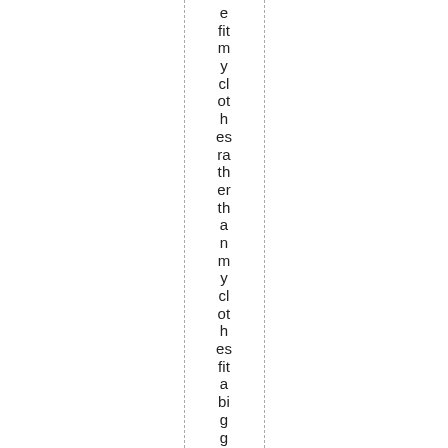e fit m y cl ot h es ra th er th a n m y cl ot h es fit a bi g g er , so ft er